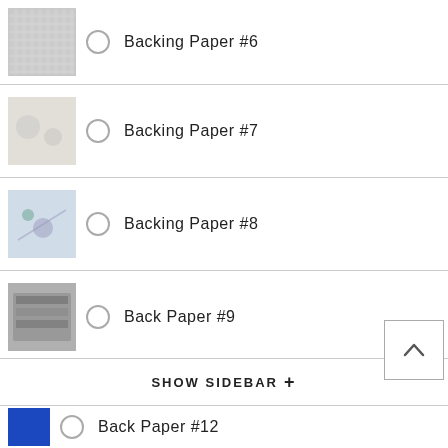Backing Paper #6
Backing Paper #7
Backing Paper #8
Back Paper #9
Back Paper #10
Back Paper #11
SHOW SIDEBAR +
Back Paper #12